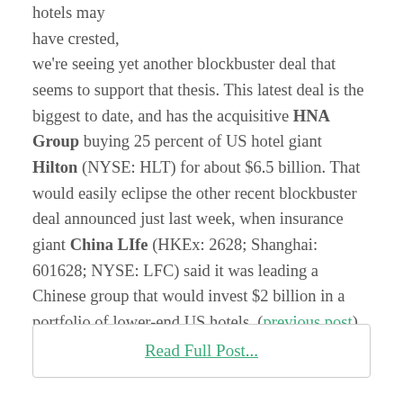hotels may have crested, we're seeing yet another blockbuster deal that seems to support that thesis. This latest deal is the biggest to date, and has the acquisitive HNA Group buying 25 percent of US hotel giant Hilton (NYSE: HLT) for about $6.5 billion. That would easily eclipse the other recent blockbuster deal announced just last week, when insurance giant China LIfe (HKEx: 2628; Shanghai: 601628; NYSE: LFC) said it was leading a Chinese group that would invest $2 billion in a portfolio of lower-end US hotels. (previous post)
Read Full Post...